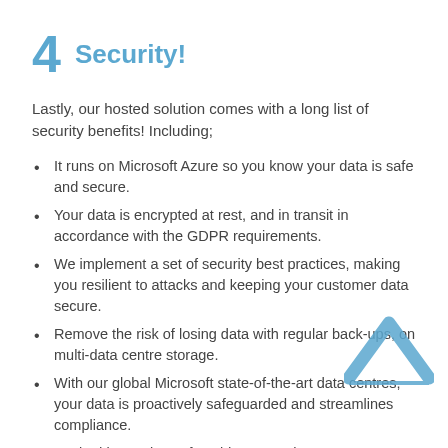4 Security!
Lastly, our hosted solution comes with a long list of security benefits! Including;
It runs on Microsoft Azure so you know your data is safe and secure.
Your data is encrypted at rest, and in transit in accordance with the GDPR requirements.
We implement a set of security best practices, making you resilient to attacks and keeping your customer data secure.
Remove the risk of losing data with regular back-ups, on multi-data centre storage.
With our global Microsoft state-of-the-art data centres, your data is proactively safeguarded and streamlines compliance.
Backed by a Microsoft Gold SLA, we have